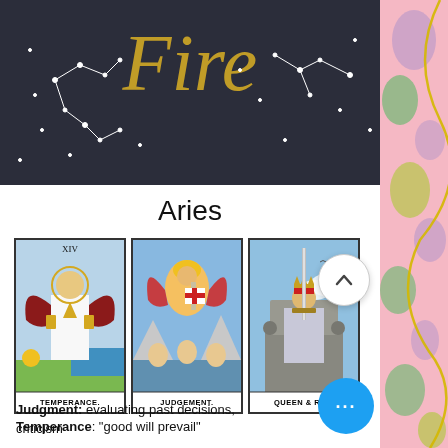[Figure (illustration): Dark navy banner with gold italic cursive text reading 'Fire' and white constellation dot patterns on dark background]
Aries
[Figure (illustration): Three tarot cards side by side: Temperance (angel figure with wings pouring liquid), Judgement (angel with trumpet over figures), Queen of Swords (queen on throne holding sword). Cards labeled TEMPERANCE., JUDGEMENT., QUEEN & SWORDS.]
Temperance: "good will prevail"
Judgment: evaluating past decisions, criticism